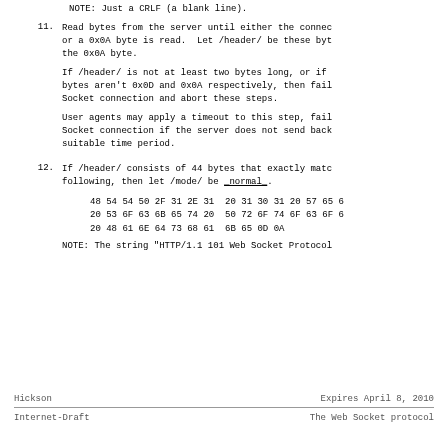NOTE: Just a CRLF (a blank line).
11. Read bytes from the server until either the connection closes or a 0x0A byte is read. Let /header/ be these bytes, including the 0x0A byte.

If /header/ is not at least two bytes long, or if the last two bytes aren't 0x0D and 0x0A respectively, then fail the Web Socket connection and abort these steps.

User agents may apply a timeout to this step, failing the Web Socket connection if the server does not send back data in a suitable time period.
12. If /header/ consists of 44 bytes that exactly match the following, then let /mode/ be _normal_.

48 54 54 50 2F 31 2E 31  20 31 30 31 20 57 65 6...
20 53 6F 63 6B 65 74 20  50 72 6F 74 6F 63 6F 6...
20 48 61 6E 64 73 68 61  6B 65 0D 0A

NOTE: The string "HTTP/1.1 101 Web Socket Protocol...
Hickson                         Expires April 8, 2010
Internet-Draft          The Web Socket protocol